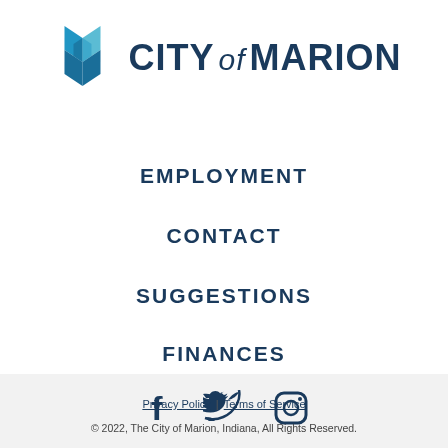[Figure (logo): City of Marion logo with geometric M icon in blue tones and text CITY of MARION]
EMPLOYMENT
CONTACT
SUGGESTIONS
FINANCES
[Figure (illustration): Social media icons: Facebook, Twitter, Instagram in dark navy blue]
Privacy Policy | Terms of Service
© 2022, The City of Marion, Indiana, All Rights Reserved.